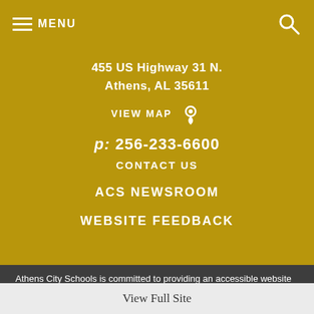MENU
455 US Highway 31 N.
Athens, AL 35611
VIEW MAP
p: 256-233-6600
CONTACT US
ACS NEWSROOM
WEBSITE FEEDBACK
Athens City Schools is committed to providing an accessible website to all visitors. Should you encounter any difficulty with the ACS website or its contents, please contact us at 256-233-6600 or click the Website Feedback link above. Regarding educational opportunities: It is the policy of the Athens City Board of Education not to discriminate on the basis of race, color, national origin, sex, disability, age, religion, or marital status in the education programs, activities or employment, and provides equal
View Full Site